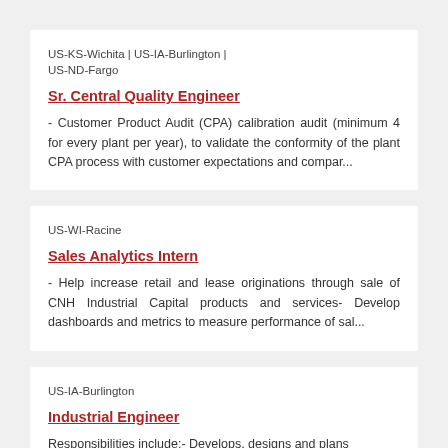US-KS-Wichita | US-IA-Burlington | US-ND-Fargo
Sr. Central Quality Engineer
- Customer Product Audit (CPA) calibration audit (minimum 4 for every plant per year), to validate the conformity of the plant CPA process with customer expectations and compar...
US-WI-Racine
Sales Analytics Intern
- Help increase retail and lease originations through sale of CNH Industrial Capital products and services- Develop dashboards and metrics to measure performance of sal...
US-IA-Burlington
Industrial Engineer
Responsibilities include:- Develops, designs and plans